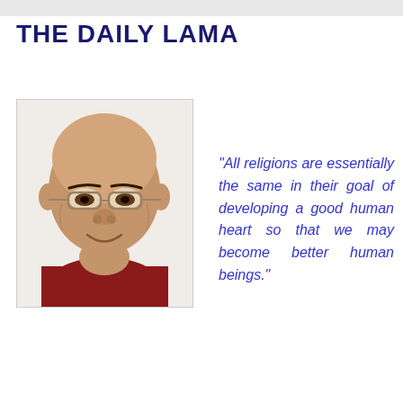THE DAILY LAMA
[Figure (photo): Portrait photo of the Dalai Lama, an elderly bald man wearing glasses and a dark red robe, smiling warmly against a white background, shown from shoulders up.]
"All religions are essentially the same in their goal of developing a good human heart so that we may become better human beings."